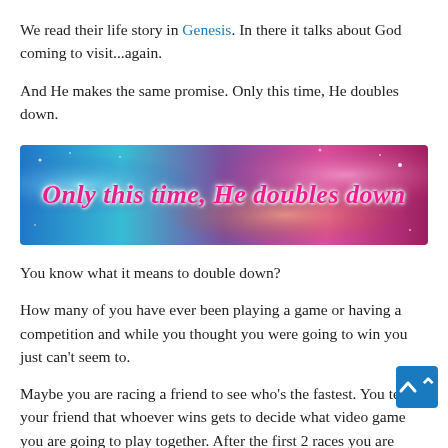We read their life story in Genesis. In there it talks about God coming to visit...again.
And He makes the same promise. Only this time, He doubles down.
[Figure (illustration): Colorful banner image with cosmic/galaxy background in blues, pinks and purples, with cursive pink text reading 'Only this time, He doubles down']
You know what it means to double down?
How many of you have ever been playing a game or having a competition and while you thought you were going to win you just can't seem to.
Maybe you are racing a friend to see who's the fastest. You tell your friend that whoever wins gets to decide what video game you are going to play together. After the first 2 races you are